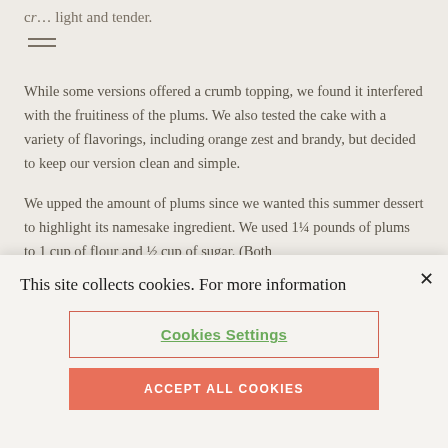cr… light and tender.
While some versions offered a crumb topping, we found it interfered with the fruitiness of the plums. We also tested the cake with a variety of flavorings, including orange zest and brandy, but decided to keep our version clean and simple.
We upped the amount of plums since we wanted this summer dessert to highlight its namesake ingredient. We used 1¼ pounds of plums to 1 cup of flour and ½ cup of sugar. (Both
This site collects cookies. For more information
Cookies Settings
ACCEPT ALL COOKIES